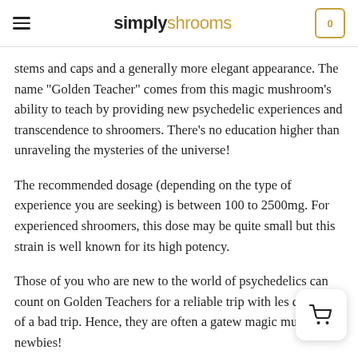simplyshrooms
stems and caps and a generally more elegant appearance. The name “Golden Teacher” comes from this magic mushroom’s ability to teach by providing new psychedelic experiences and transcendence to shroomers. There’s no education higher than unraveling the mysteries of the universe!
The recommended dosage (depending on the type of experience you are seeking) is between 100 to 2500mg. For experienced shroomers, this dose may be quite small but this strain is well known for its high potency.
Those of you who are new to the world of psychedelics can count on Golden Teachers for a reliable trip with less chances of a bad trip. Hence, they are often a gateway for magic mushroom newbies!